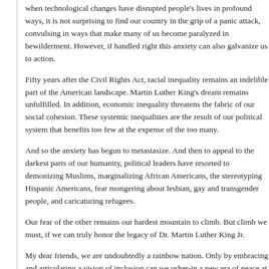when technological changes have disrupted people's lives in profound ways, it is not surprising to find our country in the grip of a panic attack, convulsing in ways that make many of us become paralyzed in bewilderment. However, if handled right this anxiety can also galvanize us to action.
Fifty years after the Civil Rights Act, racial inequality remains an indelible part of the American landscape. Martin Luther King's dream remains unfulfilled. In addition, economic inequality threatens the fabric of our social cohesion. These systemic inequalities are the result of our political system that benefits too few at the expense of the too many.
And so the anxiety has begun to metastasize. And then to appeal to the darkest parts of our humanity, political leaders have resorted to demonizing Muslims, marginalizing African Americans, the stereotyping Hispanic Americans, fear mongering about lesbian, gay and transgender people, and caricaturing refugees.
Our fear of the other remains our hardest mountain to climb. But climb we must, if we can truly honor the legacy of Dr. Martin Luther King Jr.
My dear friends, we are undoubtedly a rainbow nation. Only by embracing and articulating a vision of inclusion can we usher-in a new era of peace at home and abroad and a shared prosperity for all.
Thank you for the honor. May God bless us all.